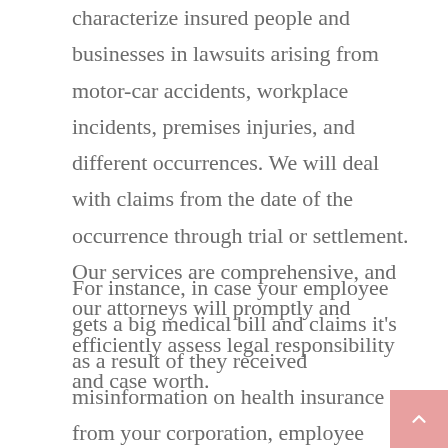characterize insured people and businesses in lawsuits arising from motor-car accidents, workplace incidents, premises injuries, and different occurrences. We will deal with claims from the date of the occurrence through trial or settlement. Our services are comprehensive, and our attorneys will promptly and efficiently assess legal responsibility and case worth.
For instance, in case your employee gets a big medical bill and claims it's as a result of they received misinformation on health insurance from your corporation, employee benefits liability insurancecan assist cover prices related to the claim. Maximize the worth of your organization's priceless insurance assets and